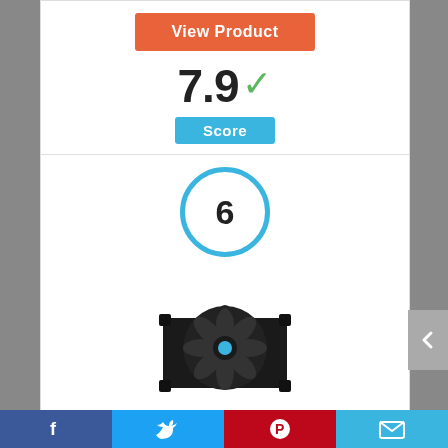[Figure (infographic): Orange 'View Product' button]
7.9 ✓
Score
[Figure (infographic): Circle badge with number 6 inside, blue ring]
[Figure (photo): CPU cooler fan product image, black with blue accent]
[Figure (infographic): Back arrow scroll button on right side]
Facebook | Twitter | Pinterest | Email social share bar